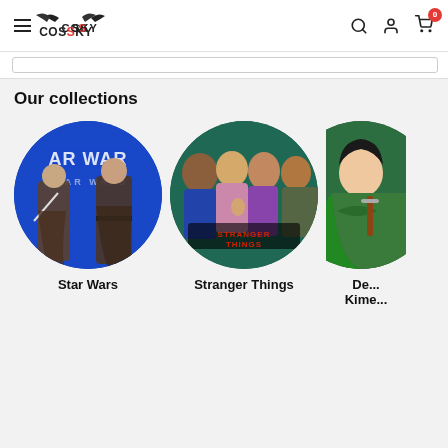CossSky website header with hamburger menu, logo, search icon, account icon, and cart icon with badge 0
Our collections
[Figure (photo): Circular collection thumbnail for Star Wars showing two people in Jedi robes with lightsabers against a blue Star Wars background]
Star Wars
[Figure (photo): Circular collection thumbnail for Stranger Things showing multiple characters from the show with the Stranger Things logo]
Stranger Things
[Figure (photo): Partially visible circular collection thumbnail for Demon Slayer: Kimetsu no Yaiba showing anime character]
De... Kime...